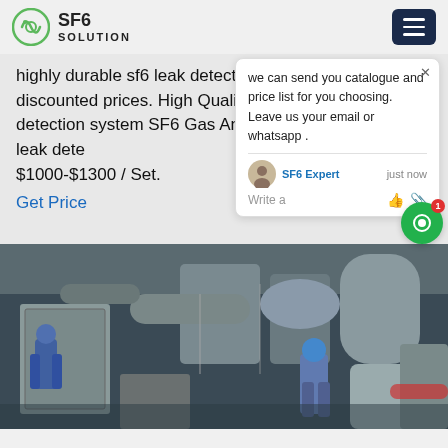SF6 SOLUTION
highly durable sf6 leak detection at the most exciting discounted prices. High Quality Professional gas detection system SF6 Gas Analyzer SF6 quantitative leak dete... $1000-$1300 / Set.
Get Price
we can send you catalogue and price list for you choosing.
Leave us your email or whatsapp .
SF6 Expert    just now
Write a
[Figure (photo): Industrial workers in protective gear inspecting large SF6 gas equipment and pipes in an industrial facility]